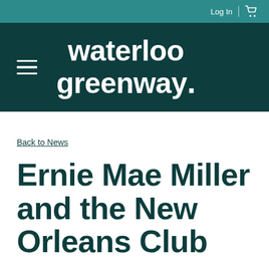Log In | [cart icon]
[Figure (logo): Waterloo Greenway logo with hamburger menu icon on dark teal background. Text reads: waterloo greenway.]
Back to News
Ernie Mae Miller and the New Orleans Club